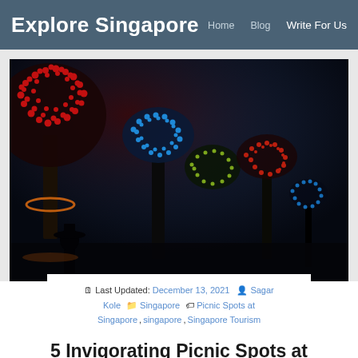Explore Singapore | Home | Blog | Write For Us
[Figure (photo): Night photograph of Gardens by the Bay Supertrees in Singapore, illuminated with red, blue and green lights against a dark sky]
Last Updated: December 13, 2021  Sagar Kole  Singapore  Picnic Spots at Singapore, singapore, Singapore Tourism
5 Invigorating Picnic Spots at